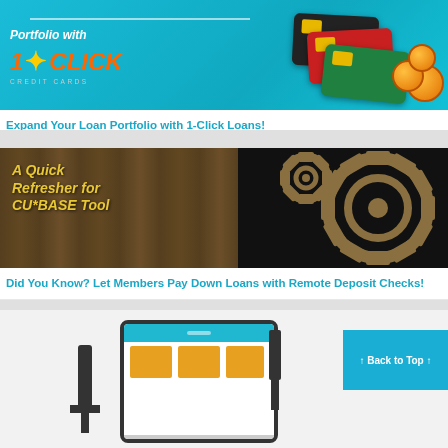[Figure (illustration): Banner image for 1-Click Credit Cards product with teal background, credit cards, and coins]
Expand Your Loan Portfolio with 1-Click Loans!
[Figure (illustration): Banner image for CU*BASE Tool refresher with wood background, gears, and golden text reading 'A Quick Refresher for CU*BASE Tool']
Did You Know? Let Members Pay Down Loans with Remote Deposit Checks!
[Figure (illustration): Partial banner showing device/app illustration with Back to Top button]